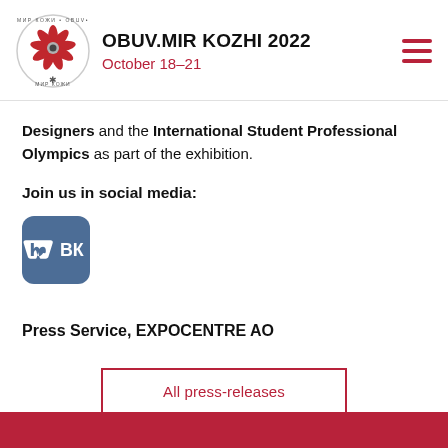OBUV.MIR KOZHI 2022 October 18–21
Designers and the International Student Professional Olympics as part of the exhibition.
Join us in social media:
[Figure (logo): VK social media icon button, blue/grey square with rounded corners and white VK letters]
Press Service, EXPOCENTRE AO
All press-releases